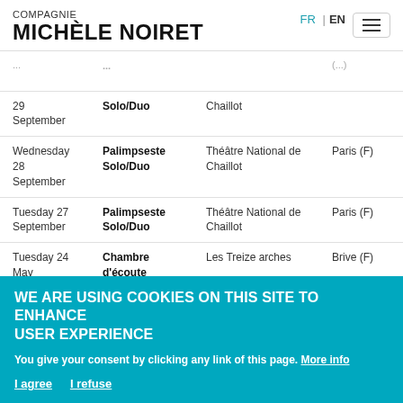COMPAGNIE MICHÈLE NOIRET
| Date | Show | Venue | City |
| --- | --- | --- | --- |
| 29 September | Solo/Duo | Chaillot | (F) |
| Wednesday 28 September | Palimpseste Solo/Duo | Théâtre National de Chaillot | Paris (F) |
| Tuesday 27 September | Palimpseste Solo/Duo | Théâtre National de Chaillot | Paris (F) |
| Tuesday 24 May | Chambre d'écoute | Les Treize arches | Brive (F) |
| Saturday ... | Michèle Noiret ... | Théâtre National ... | Bruxelles (B) |
WE ARE USING COOKIES ON THIS SITE TO ENHANCE USER EXPERIENCE
You give your consent by clicking any link of this page. More info
I agree  I refuse